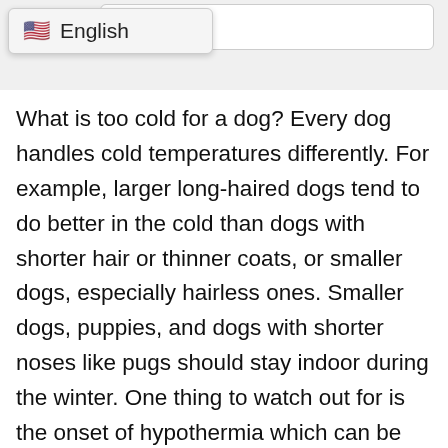[Figure (screenshot): Partial text input box showing the word 'storms' and a language dropdown selector showing US flag and 'English']
What is too cold for a dog? Every dog handles cold temperatures differently. For example, larger long-haired dogs tend to do better in the cold than dogs with shorter hair or thinner coats, or smaller dogs, especially hairless ones. Smaller dogs, puppies, and dogs with shorter noses like pugs should stay indoor during the winter. One thing to watch out for is the onset of hypothermia which can be very dangerous for dogs and somewhat